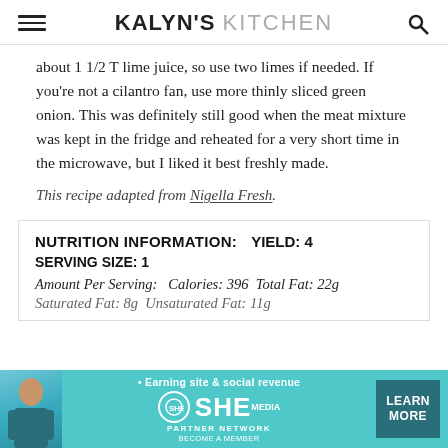KALYN'S KITCHEN
about 1 1/2 T lime juice, so use two limes if needed. If you're not a cilantro fan, use more thinly sliced green onion. This was definitely still good when the meat mixture was kept in the fridge and reheated for a very short time in the microwave, but I liked it best freshly made.
This recipe adapted from Nigella Fresh.
| NUTRITION INFORMATION | YIELD | SERVING SIZE | Amount Per Serving |
| --- | --- | --- | --- |
| YIELD: 4 |  |  |  |
| SERVING SIZE: 1 |  |  |  |
| Amount Per Serving: Calories: 396 Total Fat: 22g |  |  |  |
| Saturated Fat: 8g Unsaturated Fat: 11g |  |  |  |
[Figure (infographic): SHE Partner Network advertisement banner with teal background, female presenter photo, SHE logo, tagline 'Earning site & social revenue', and LEARN MORE button]